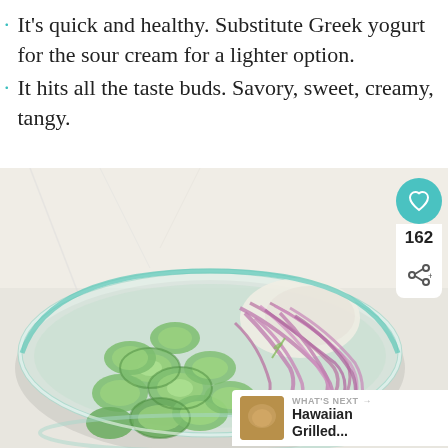It's quick and healthy. Substitute Greek yogurt for the sour cream for a lighter option.
It hits all the taste buds. Savory, sweet, creamy, tangy.
[Figure (photo): A glass bowl filled with sliced cucumbers, shredded red onions, and a creamy dressing, viewed from above on a white marble surface. Social sharing overlay on the right shows a teal heart icon, count of 162, and a share icon. A 'What's Next' banner in the bottom right shows Hawaiian Grilled... with a thumbnail.]